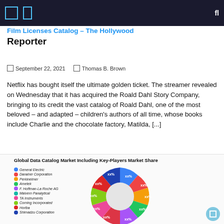Film Licenses Catalog – The Hollywood Reporter
September 22, 2021   Thomas B. Brown
Netflix has bought itself the ultimate golden ticket. The streamer revealed on Wednesday that it has acquired the Roald Dahl Story Company, bringing to its credit the vast catalog of Roald Dahl, one of the most beloved – and adapted – children's authors of all time, whose books include Charlie and the chocolate factory, Matilda, [...]
[Figure (donut-chart): Donut chart showing market share percentages (shown as 'xx%') for companies: General Electric, Danaher Corporation, Perkinelmer, Ametek, F. Hoffman-La Roche AG, Malvern Panalytical, TA Instruments, Corning Incorporated, Horiba, Shimadzu Corporation. Values are redacted as xx%.]